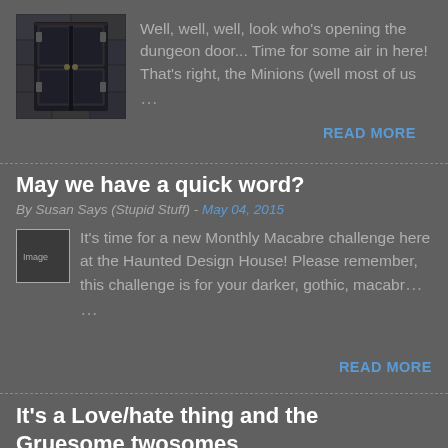[Figure (photo): Dark dungeon wooden door thumbnail image]
Well, well, well, look who's opening the dungeon door... Time for some air in here! That's right, the Minions (well most of us …
READ MORE
May we have a quick word?
By Susan Says (Stupid Stuff) - May 04, 2015
[Figure (photo): Small image placeholder thumbnail]
It's time for a new Monthly Macabre challenge here at the Haunted Design House! Please remember, this challenge is for your darker, gothic, macabr… …
READ MORE
It's a Love/hate thing and the Gruesome twosomes